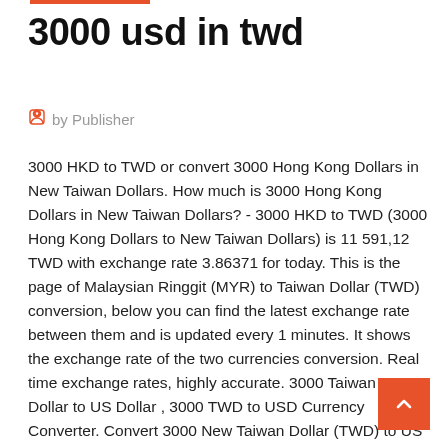3000 usd in twd
by Publisher
3000 HKD to TWD or convert 3000 Hong Kong Dollars in New Taiwan Dollars. How much is 3000 Hong Kong Dollars in New Taiwan Dollars? - 3000 HKD to TWD (3000 Hong Kong Dollars to New Taiwan Dollars) is 11 591,12 TWD with exchange rate 3.86371 for today. This is the page of Malaysian Ringgit (MYR) to Taiwan Dollar (TWD) conversion, below you can find the latest exchange rate between them and is updated every 1 minutes. It shows the exchange rate of the two currencies conversion. Real time exchange rates, highly accurate. 3000 Taiwan New Dollar to US Dollar , 3000 TWD to USD Currency Converter. Convert 3000 New Taiwan Dollar (TWD) to US Dollar (USD). Exchange rates used for currency conversion updated on March 17th 2020 ( 03/17/2020 ). Amount in words: three thousand (New Taiwan Dollar). To show you the most accurate result, we use the international exchange rate. Convert